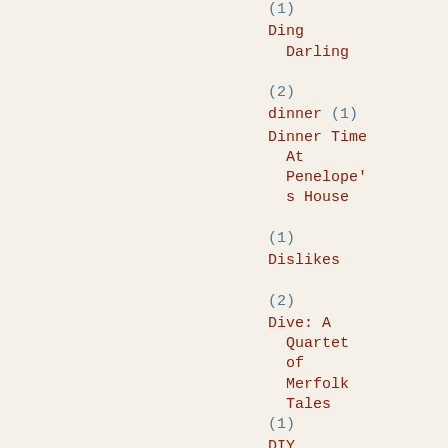(1)
Ding Darling (2)
dinner (1)
Dinner Time At Penelope's House (1)
Dislikes (2)
Dive: A Quartet of Merfolk Tales (1)
DIY